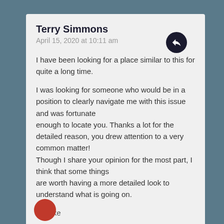Terry Simmons
April 15, 2020 at 10:11 am
I have been looking for a place similar to this for quite a long time.

I was looking for someone who would be in a position to clearly navigate me with this issue and was fortunate
enough to locate you. Thanks a lot for the detailed reason, you drew attention to a very common matter!
Though I share your opinion for the most part, I think that some things
are worth having a more detailed look to understand what is going on.
Like